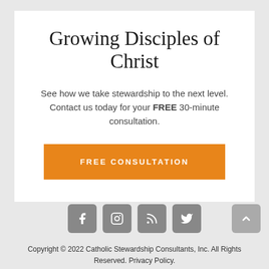Growing Disciples of Christ
See how we take stewardship to the next level. Contact us today for your FREE 30-minute consultation.
FREE CONSULTATION
[Figure (other): Social media icons: Facebook, Instagram, RSS feed, Twitter]
Copyright © 2022 Catholic Stewardship Consultants, Inc. All Rights Reserved. Privacy Policy.